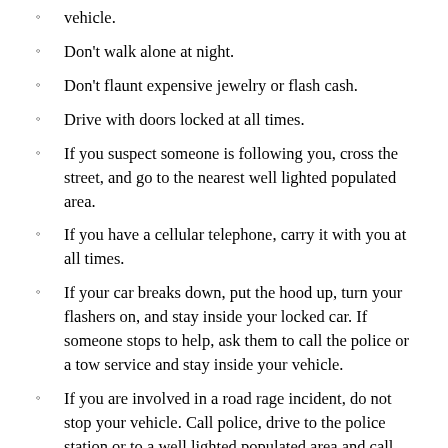vehicle.
Don't walk alone at night.
Don't flaunt expensive jewelry or flash cash.
Drive with doors locked at all times.
If you suspect someone is following you, cross the street, and go to the nearest well lighted populated area.
If you have a cellular telephone, carry it with you at all times.
If your car breaks down, put the hood up, turn your flashers on, and stay inside your locked car. If someone stops to help, ask them to call the police or a tow service and stay inside your vehicle.
If you are involved in a road rage incident, do not stop your vehicle. Call police, drive to the police station or to a well lighted populated area and call police. Never confront the other subject.
If you are being followed while in your vehicle, do